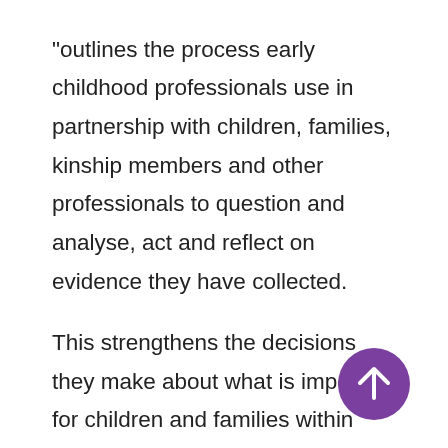“outlines the process early childhood professionals use in partnership with children, families, kinship members and other professionals to question and analyse, act and reflect on evidence they have collected.

This strengthens the decisions they make about what is important for children and families within their communities.” (VEYLDF, 2016, p. 8)
[Figure (other): Purple circular back-to-top button with an upward arrow icon]